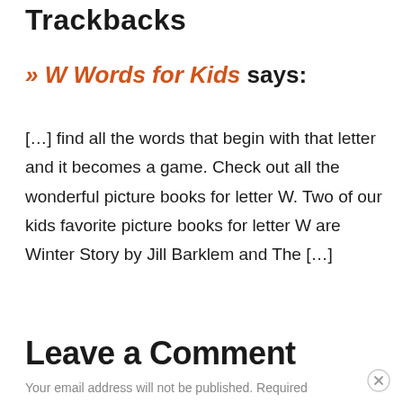Trackbacks
» W Words for Kids says:
[…] find all the words that begin with that letter and it becomes a game. Check out all the wonderful picture books for letter W. Two of our kids favorite picture books for letter W are Winter Story by Jill Barklem and The […]
Leave a Comment
Your email address will not be published. Required